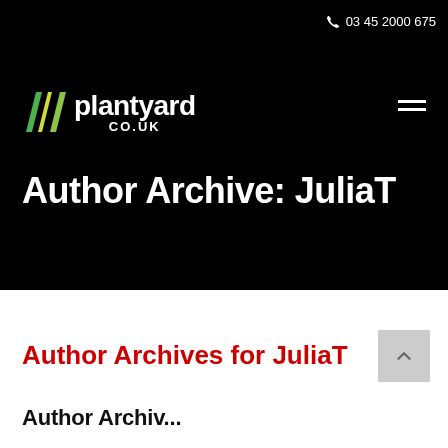03 45  2000 675
[Figure (logo): Plantyard.co.uk logo with green and yellow diagonal slash marks on black background]
Author Archive: JuliaT
Author Archives for JuliaT